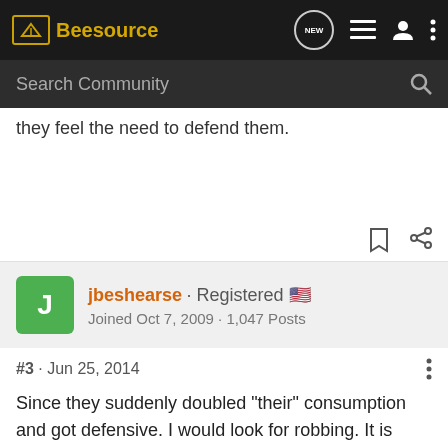Beesource
they feel the need to defend them.
jbeshearse · Registered
Joined Oct 7, 2009 · 1,047 Posts
#3 · Jun 25, 2014
Since they suddenly doubled "their" consumption and got defensive. I would look for robbing. It is possible other bees are taking that extra syrup.